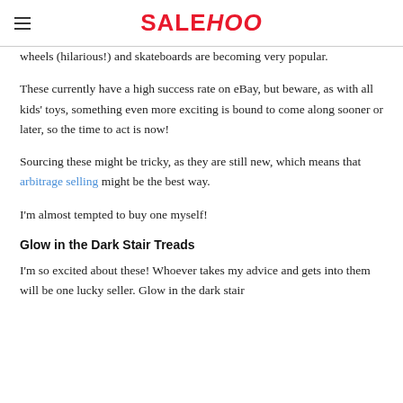SALEHOO
wheels (hilarious!) and skateboards are becoming very popular.
These currently have a high success rate on eBay, but beware, as with all kids' toys, something even more exciting is bound to come along sooner or later, so the time to act is now!
Sourcing these might be tricky, as they are still new, which means that arbitrage selling might be the best way.
I'm almost tempted to buy one myself!
Glow in the Dark Stair Treads
I'm so excited about these! Whoever takes my advice and gets into them will be one lucky seller. Glow in the dark stair